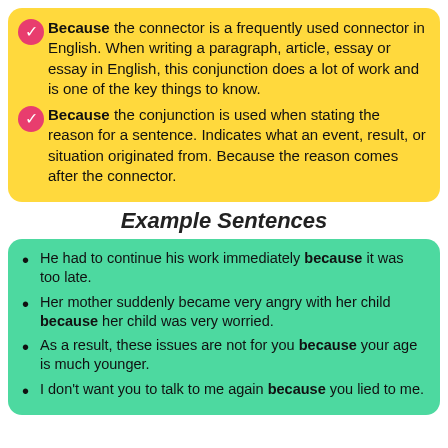Because the connector is a frequently used connector in English. When writing a paragraph, article, essay or essay in English, this conjunction does a lot of work and is one of the key things to know.
Because the conjunction is used when stating the reason for a sentence. Indicates what an event, result, or situation originated from. Because the reason comes after the connector.
Example Sentences
He had to continue his work immediately because it was too late.
Her mother suddenly became very angry with her child because her child was very worried.
As a result, these issues are not for you because your age is much younger.
I don't want you to talk to me again because you lied to me.